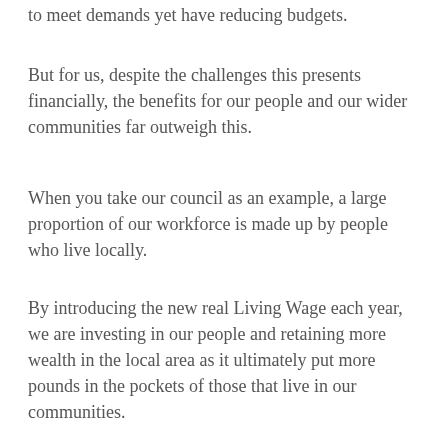to meet demands yet have reducing budgets.
But for us, despite the challenges this presents financially, the benefits for our people and our wider communities far outweigh this.
When you take our council as an example, a large proportion of our workforce is made up by people who live locally.
By introducing the new real Living Wage each year, we are investing in our people and retaining more wealth in the local area as it ultimately put more pounds in the pockets of those that live in our communities.
This then creates a positive knock-on effect as it supports local businesses, creates opportunities for new jobs and boosts the economy.